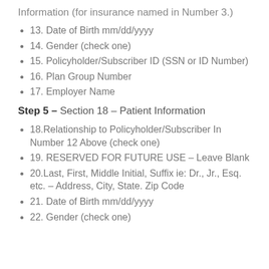Information (for insurance named in Number 3.)
13. Date of Birth mm/dd/yyyy
14. Gender (check one)
15. Policyholder/Subscriber ID (SSN or ID Number)
16. Plan Group Number
17. Employer Name
Step 5 – Section 18 – Patient Information
18.Relationship to Policyholder/Subscriber In Number 12 Above (check one)
19. RESERVED FOR FUTURE USE – Leave Blank
20.Last, First, Middle Initial, Suffix ie: Dr., Jr., Esq. etc. – Address, City, State. Zip Code
21. Date of Birth mm/dd/yyyy
22. Gender (check one)